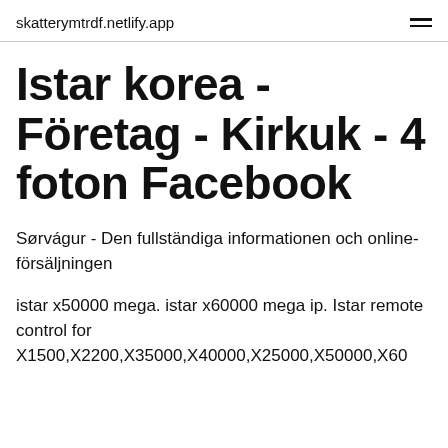skatterymtrdf.netlify.app
Istar korea - Företag - Kirkuk - 4 foton Facebook
Sørvágur - Den fullständiga informationen och online-försäljningen
istar x50000 mega. istar x60000 mega ip. Istar remote control for X1500,X2200,X35000,X40000,X25000,X50000,X60